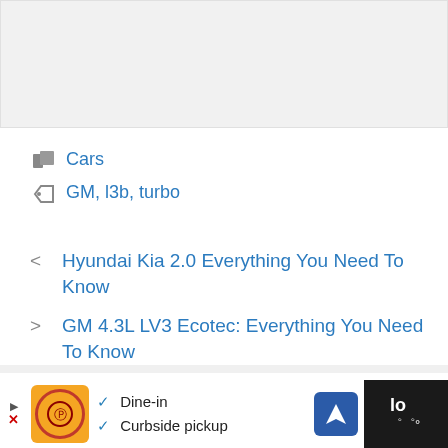[Figure (photo): Light gray placeholder image area at top of page]
Cars
GM, l3b, turbo
< Hyundai Kia 2.0 Everything You Need To Know
> GM 4.3L LV3 Ecotec: Everything You Need To Know
2 thoughts on “GM 2.7 L3B
[Figure (infographic): Advertisement bar at bottom: restaurant ad with orange logo, Dine-in and Curbside pickup checkmarks, blue navigation arrow icon, and weather/temperature indicator on dark background]